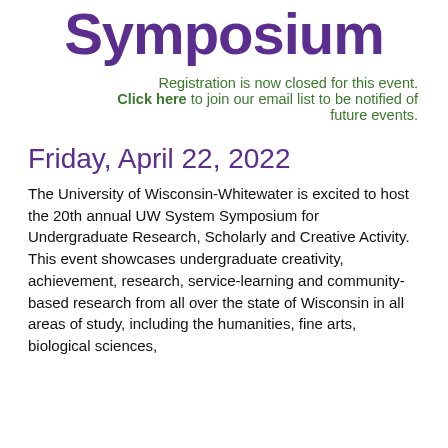Symposium
Registration is now closed for this event. Click here to join our email list to be notified of future events.
Friday, April 22, 2022
The University of Wisconsin-Whitewater is excited to host the 20th annual UW System Symposium for Undergraduate Research, Scholarly and Creative Activity. This event showcases undergraduate creativity, achievement, research, service-learning and community-based research from all over the state of Wisconsin in all areas of study, including the humanities, fine arts, biological sciences,